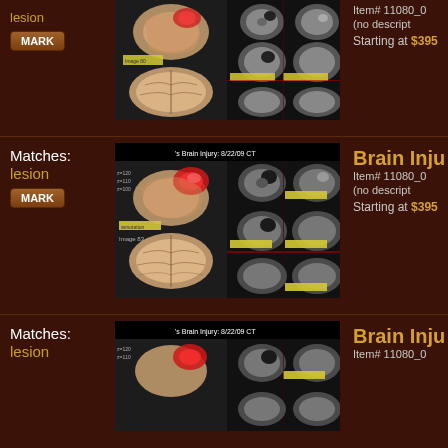[Figure (photo): Brain injury CT scan image showing anatomical illustration and CT scan slices - first listing (partially visible at top)]
Item# 11080_0
(no description)
Starting at $395
Matches:
lesion
MARK
[Figure (photo): Brain Injury: 8/22/09 CT scan image showing brain anatomical illustration and CT scan slices - second listing]
Brain Inju
Item# 11080_0
(no description)
Starting at $395
Matches:
lesion
[Figure (photo): Brain Injury: 8/22/09 CT scan image - third listing (partially visible at bottom)]
Brain Inju
Item# 11080_0